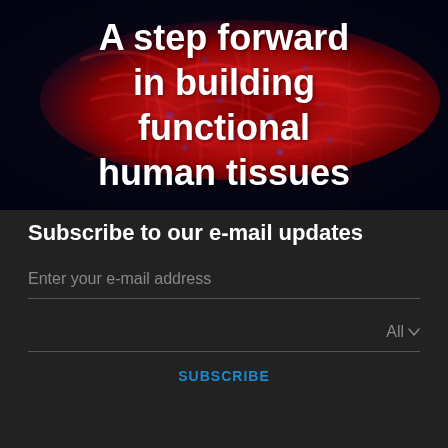[Figure (photo): Fluorescence microscopy image of human tissue cells, showing a dense network of cells in red/crimson against a dark navy background, with blue nuclei visible.]
A step forward in building functional human tissues
Subscribe to our e-mail updates
Enter your e-mail address
All